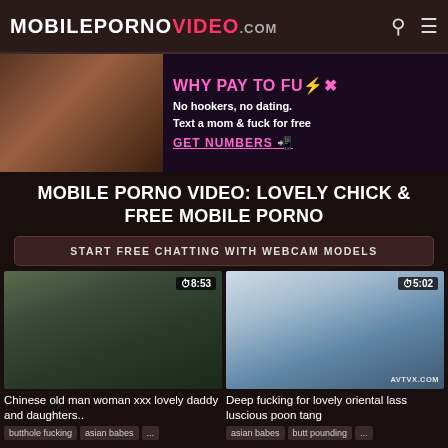MOBILEPORNO VIDEO.com
[Figure (screenshot): Adult advertisement banner with image on left and text on right reading WHY PAY TO FUCK, No hookers, no dating. Text a mom & fuck for free, GET NUMBERS]
MOBILE PORNO VIDEO: LOVELY CHICK & FREE MOBILE PORNO
START FREE CHATTING WITH WEBCAM MODELS
[Figure (photo): Video thumbnail showing outdoor scene, duration 8:53]
[Figure (photo): Video thumbnail showing indoor scene with AVTVX.COM watermark, duration 5:02]
Chinese old man woman xxx lovely daddy and daughters..
Deep fucking for lovely oriental lass luscious poon tang
butthole fucking  asian babes  ...
asian babes  butt pounding  ...